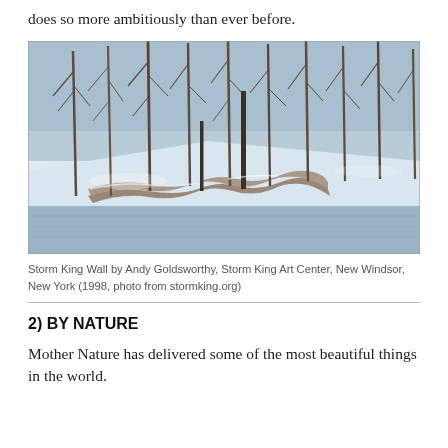does so more ambitiously than ever before.
[Figure (photo): Outdoor winter photograph of Storm King Wall by Andy Goldsworthy at Storm King Art Center, New Windsor, New York. The image shows a winding stone wall snaking through a forest of bare trees in a snowy landscape, with a frozen body of water in the foreground.]
Storm King Wall by Andy Goldsworthy, Storm King Art Center, New Windsor, New York (1998, photo from stormking.org)
2) BY NATURE
Mother Nature has delivered some of the most beautiful things in the world.